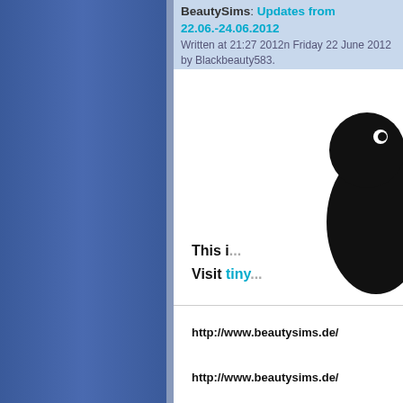BeautySims: Updates from 22.06.-24.06.2012
Written at 21:27 2012n Friday 22 June 2012 by Blackbeauty583.
[Figure (illustration): Partial view of a cartoon bird (toucan-like) with orange and black coloring, cropped at the right edge of the page]
This i...
Visit tiny...
http://www.beautysims.de/
http://www.beautysims.de/